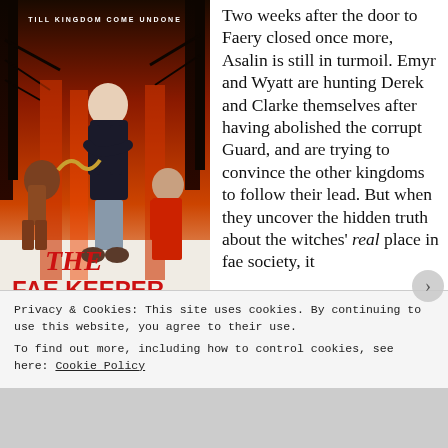[Figure (illustration): Book cover of 'The Fae Keeper' by H.E. Edmon, sequel to The Witch King. Shows a bald figure with crossed arms, a girl with braids, and another figure, against a dark red forest background with the title in red letters.]
Two weeks after the door to Faery closed once more, Asalin is still in turmoil. Emyr and Wyatt are hunting Derek and Clarke themselves after having abolished the corrupt Guard, and are trying to convince the other kingdoms to follow their lead. But when they uncover the hidden truth about the witches' real place in fae society, it
Privacy & Cookies: This site uses cookies. By continuing to use this website, you agree to their use.
To find out more, including how to control cookies, see here: Cookie Policy
Close and accept